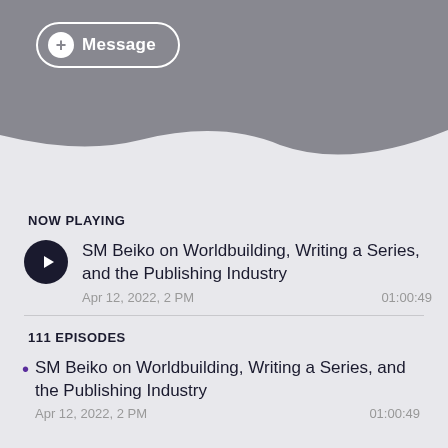[Figure (screenshot): Message button with plus icon in a rounded border on dark gray background with wave shape transitioning to light gray]
NOW PLAYING
SM Beiko on Worldbuilding, Writing a Series, and the Publishing Industry
Apr 12, 2022, 2 PM	01:00:49
111 EPISODES
SM Beiko on Worldbuilding, Writing a Series, and the Publishing Industry
Apr 12, 2022, 2 PM	01:00:49